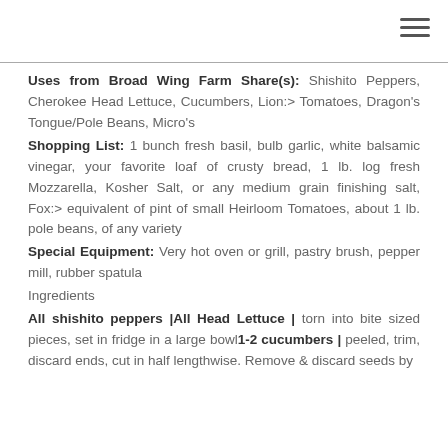Uses from Broad Wing Farm Share(s): Shishito Peppers, Cherokee Head Lettuce, Cucumbers, Lion:> Tomatoes, Dragon's Tongue/Pole Beans, Micro's
Shopping List: 1 bunch fresh basil, bulb garlic, white balsamic vinegar, your favorite loaf of crusty bread, 1 lb. log fresh Mozzarella, Kosher Salt, or any medium grain finishing salt, Fox:> equivalent of pint of small Heirloom Tomatoes, about 1 lb. pole beans, of any variety
Special Equipment: Very hot oven or grill, pastry brush, pepper mill, rubber spatula
Ingredients
All shishito peppers |All Head Lettuce | torn into bite sized pieces, set in fridge in a large bowl1-2 cucumbers | peeled, trim, discard ends, cut in half lengthwise. Remove & discard seeds by